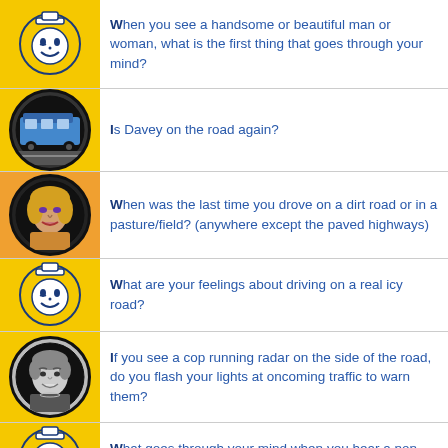When you see a handsome or beautiful man or woman, what is the first thing that goes through your mind?
Is Davey on the road again?
When was the last time you drove on a dirt road or in a pasture/field? (anywhere except the paved highways)
What are your feelings about driving on a real icy road?
If you see a cop running radar on the side of the road, do you flash your lights at oncoming traffic to warn them?
What goes through your mind when you hear a non-black